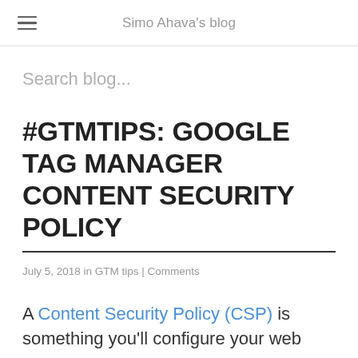Simo Ahava's blog
Search blog...
#GTMTIPS: GOOGLE TAG MANAGER CONTENT SECURITY POLICY
July 5, 2018 in GTM tips | Comments
A Content Security Policy (CSP) is something you'll configure your web